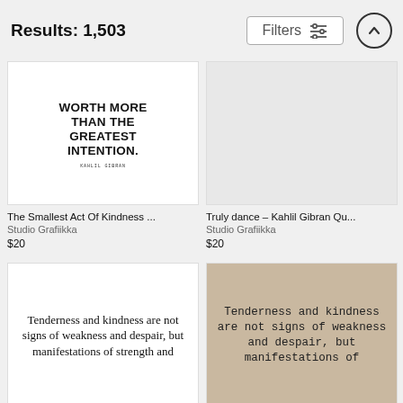Results: 1,503
Filters
[Figure (illustration): Quote poster: 'WORTH MORE THAN THE GREATEST INTENTION. KAHLIL GIBRAN' in bold black uppercase sans-serif on white background]
[Figure (illustration): Empty placeholder image with grey background]
The Smallest Act Of Kindness ...
Studio Grafiikka
$20
Truly dance - Kahlil Gibran Qu...
Studio Grafiikka
$20
[Figure (illustration): Quote poster: 'Tenderness and kindness are not signs of weakness and despair, but manifestations of strength and' in serif font on white background]
[Figure (illustration): Quote poster: 'Tenderness and kindness are not signs of weakness and despair, but manifestations of' in typewriter font on aged/tan paper background]